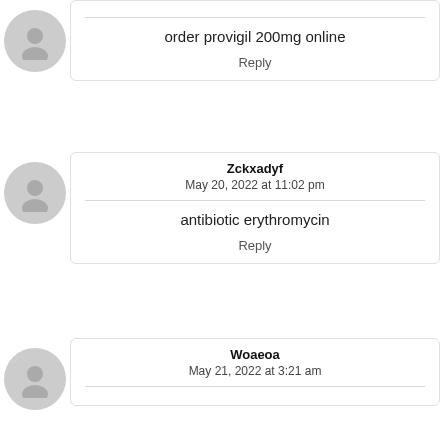order provigil 200mg online
Reply
Zckxadyf
May 20, 2022 at 11:02 pm
antibiotic erythromycin
Reply
Woaeoa
May 21, 2022 at 3:21 am